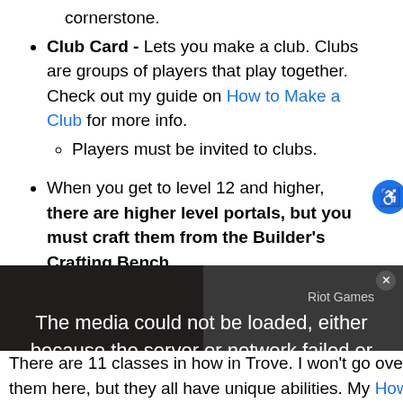cornerstone.
Club Card - Lets you make a club. Clubs are groups of players that play together. Check out my guide on How to Make a Club for more info.
  • Players must be invited to clubs.
When you get to level 12 and higher, there are higher level portals, but you must craft them from the Builder's Crafting Bench.
[Figure (screenshot): Video player showing 'The media could not be loaded, either because the server or network failed or because the format is not supported.' overlay. Background shows a dark gaming scene. Labels include 'Riot Games' and 'map in Valorant'.]
There are 11 classes in how in Trove. I won't go over them here, but they all have unique abilities. My How to Unlock New Classes in Trove guide explains every